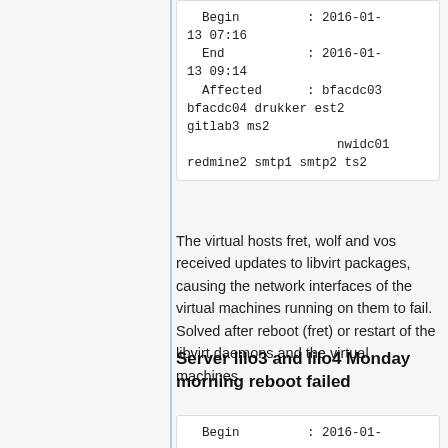Begin : 2016-01-13 07:16
  End   : 2016-01-13 09:14
  Affected : bfacdc03 bfacdc04 drukker est2 gitlab3 ms2
                    nwidc01 redmine2 smtp1 smtp2 ts2
The virtual hosts fret, wolf and vos received updates to libvirt packages, causing the network interfaces of the virtual machines running on them to fail. Solved after reboot (fret) or restart of the libvirt daemons and the virtual machines.
Server lilo3 and lilo4 Monday morning reboot failed
Begin : 2016-01-